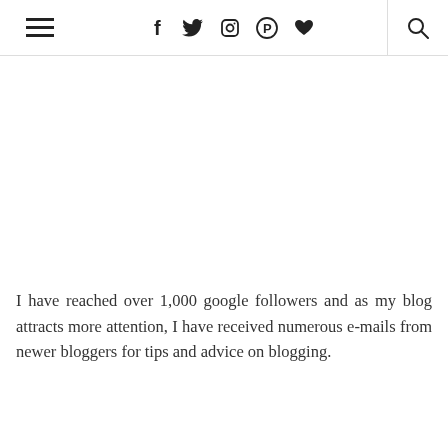≡  f  𝕏  ◎  𝓟  ♥  🔍
I have reached over 1,000 google followers and as my blog attracts more attention, I have received numerous e-mails from newer bloggers for tips and advice on blogging.